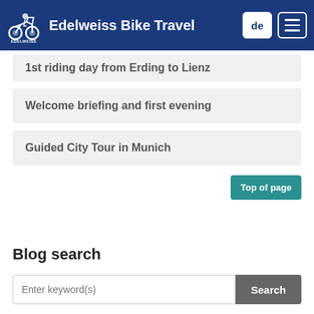Edelweiss Bike Travel
1st riding day from Erding to Lienz
Welcome briefing and first evening
Guided City Tour in Munich
Top of page
Blog search
Enter keyword(s)  Search